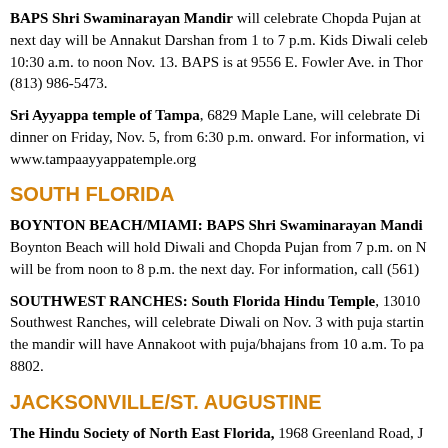BAPS Shri Swaminarayan Mandir will celebrate Chopda Pujan at... next day will be Annakut Darshan from 1 to 7 p.m. Kids Diwali celeb... 10:30 a.m. to noon Nov. 13. BAPS is at 9556 E. Fowler Ave. in Thor... (813) 986-5473.
Sri Ayyappa temple of Tampa, 6829 Maple Lane, will celebrate Di... dinner on Friday, Nov. 5, from 6:30 p.m. onward. For information, vi... www.tampaayyappatemple.org
SOUTH FLORIDA
BOYNTON BEACH/MIAMI: BAPS Shri Swaminarayan Mandi... Boynton Beach will hold Diwali and Chopda Pujan from 7 p.m. on N... will be from noon to 8 p.m. the next day. For information, call (561)
SOUTHWEST RANCHES: South Florida Hindu Temple, 13010 Southwest Ranches, will celebrate Diwali on Nov. 3 with puja startin... the mandir will have Annakoot with puja/bhajans from 10 a.m. To pa... 8802.
JACKSONVILLE/ST. AUGUSTINE
The Hindu Society of North East Florida, 1968 Greenland Road, J... celebrate Dhan Teras on Nov. 2 and Annakoot on Nov. 4. For informa...